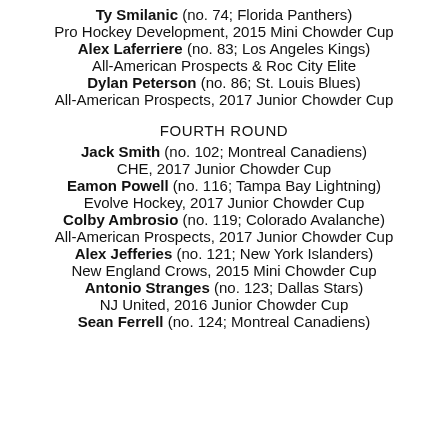Ty Smilanic (no. 74; Florida Panthers)
Pro Hockey Development, 2015 Mini Chowder Cup
Alex Laferriere (no. 83; Los Angeles Kings)
All-American Prospects & Roc City Elite
Dylan Peterson (no. 86; St. Louis Blues)
All-American Prospects, 2017 Junior Chowder Cup
FOURTH ROUND
Jack Smith (no. 102; Montreal Canadiens)
CHE, 2017 Junior Chowder Cup
Eamon Powell (no. 116; Tampa Bay Lightning)
Evolve Hockey, 2017 Junior Chowder Cup
Colby Ambrosio (no. 119; Colorado Avalanche)
All-American Prospects, 2017 Junior Chowder Cup
Alex Jefferies (no. 121; New York Islanders)
New England Crows, 2015 Mini Chowder Cup
Antonio Stranges (no. 123; Dallas Stars)
NJ United, 2016 Junior Chowder Cup
Sean Ferrell (no. 124; Montreal Canadiens)